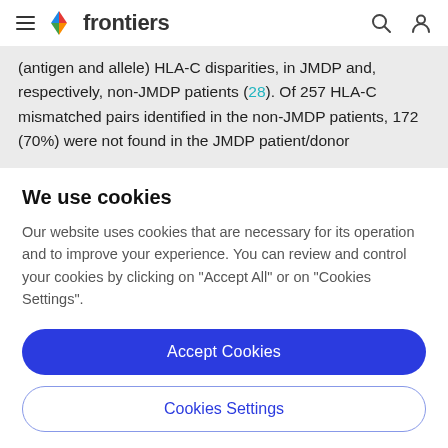frontiers
(antigen and allele) HLA-C disparities, in JMDP and, respectively, non-JMDP patients [28]. Of 257 HLA-C mismatched pairs identified in the non-JMDP patients, 172 (70%) were not found in the JMDP patient/donor
We use cookies
Our website uses cookies that are necessary for its operation and to improve your experience. You can review and control your cookies by clicking on "Accept All" or on "Cookies Settings".
Accept Cookies
Cookies Settings